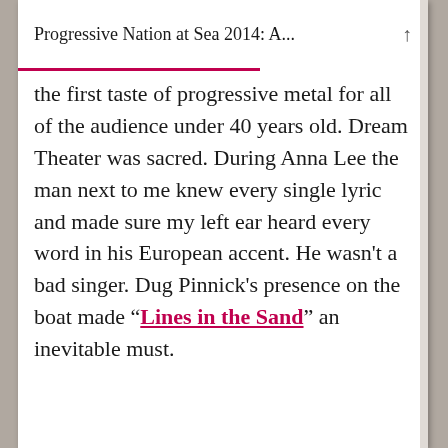Progressive Nation at Sea 2014: A...
the first taste of progressive metal for all of the audience under 40 years old. Dream Theater was sacred. During Anna Lee the man next to me knew every single lyric and made sure my left ear heard every word in his European accent. He wasn't a bad singer. Dug Pinnick's presence on the boat made "Lines in the Sand" an inevitable must.
[Figure (other): Broken image placeholder icon at the bottom of the article content]